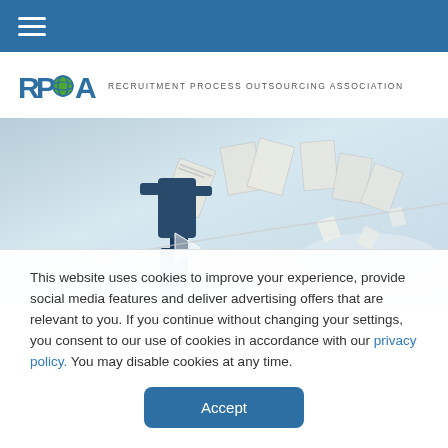Navigation bar with hamburger menu
[Figure (logo): RPOA - Recruitment Process Outsourcing Association logo with globe icon]
[Figure (photo): Hero image showing a person falling or flying with papers and documents scattered in a cloudy sky background]
This website uses cookies to improve your experience, provide social media features and deliver advertising offers that are relevant to you. If you continue without changing your settings, you consent to our use of cookies in accordance with our privacy policy. You may disable cookies at any time.
Accept